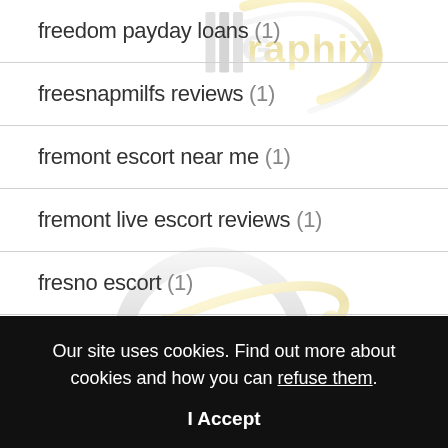[Figure (logo): illGraphix watermark logo with gold and silver lettering, repeated across background]
freedom payday loans (1)
freesnapmilfs reviews (1)
fremont escort near me (1)
fremont live escort reviews (1)
fresno escort (1)
fresno escort review (1)
Our site uses cookies. Find out more about cookies and how you can refuse them.
I Accept